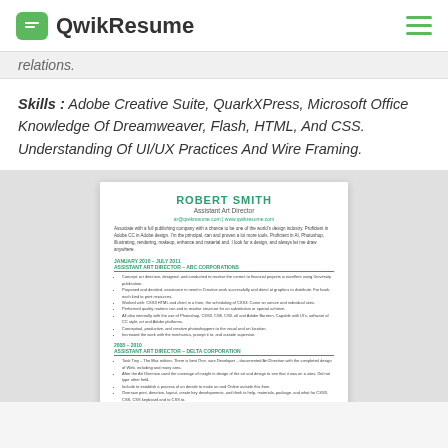QwikResume
relations.
Skills : Adobe Creative Suite, QuarkXPress, Microsoft Office Knowledge Of Dreamweaver, Flash, HTML, And CSS. Understanding Of UI/UX Practices And Wire Framing.
[Figure (screenshot): A resume preview card showing Robert Smith, Assistant Art Director, with sections for experience at ABC Corporations and Delta Corporation, and Education.]